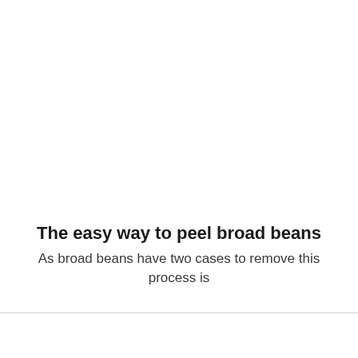The easy way to peel broad beans
As broad beans have two cases to remove this process is